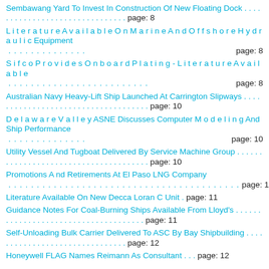Sembawang Yard To Invest In Construction Of New Floating Dock . . . . . . . . . . . . . . . . . . . . . . . . . . . . . . . page: 8
L i t e r a t u r e A v a i l a b l e O n M a r i n e A n d O f f s h o r e H y d r a u l i c Equipment . . . . . . . . . . . . . . page: 8
S i f c o P r o v i d e s O n b o a r d P l a t i n g - L i t e r a t u r e A v a i l a b l e . . . . . . . . . . . . . . . . . . . . . . . . . page: 8
Australian Navy Heavy-Lift Ship Launched At Carrington Slipways . . . . . . . . . . . . . . . . . . . . . . . . . . . . . . . . . . . page: 10
D e l a w a r e V a l l e y ASNE Discusses Computer M o d e l i n g And Ship Performance . . . . . . . . . . . . page: 10
Utility Vessel And Tugboat Delivered By Service Machine Group . . . . . . . . . . . . . . . . . . . . . . . . . . . . . . . . . . . . page: 10
Promotions A nd Retirements At El Paso LNG Company . . . . . . . . . . . . . . . . . . . . . . . . . . . . . . . . . . . . . . . . page: 11
Literature Available On New Decca Loran C Unit . page: 11
Guidance Notes For Coal-Burning Ships Available From Lloyd's . . . . . . . . . . . . . . . . . . . . . . . . . . . . . . . . . . . . page: 11
Self-Unloading Bulk Carrier Delivered To ASC By Bay Shipbuilding . . . . . . . . . . . . . . . . . . . . . . . . . . . . . . . . page: 12
Honeywell FLAG Names Reimann As Consultant . . . . page: 12